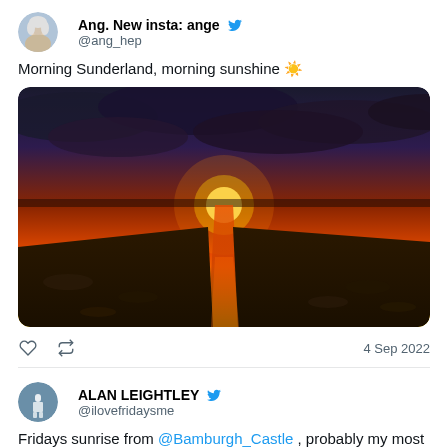Ang. New insta: ange @ang_hep
Morning Sunderland, morning sunshine ☀️
[Figure (photo): A dramatic sunset/sunrise landscape photograph showing a fiery orange and red sky with dark storm clouds, a bright sun near the horizon reflecting on a tidal pool or shallow water channel with rocky/muddy foreground.]
4 Sep 2022
ALAN LEIGHTLEY @ilovefridaysme
Fridays sunrise from @Bamburgh_Castle , probably my most favourite shot from there. The right light can...